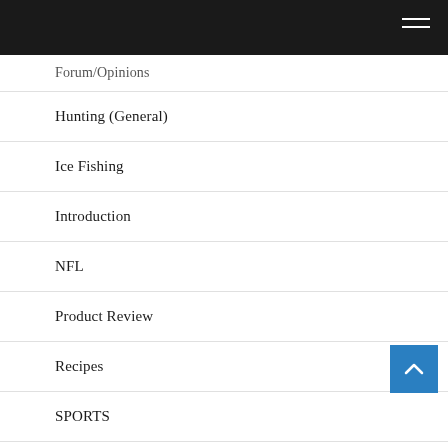Forum/Opinions
Hunting (General)
Ice Fishing
Introduction
NFL
Product Review
Recipes
SPORTS
Tournaments
Uncategorized